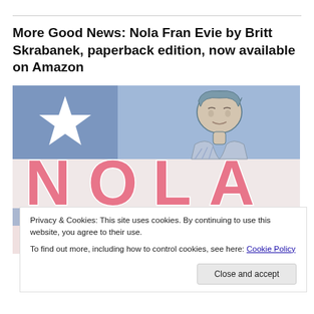More Good News: Nola Fran Evie by Britt Skrabanek, paperback edition, now available on Amazon
[Figure (illustration): Book cover illustration for 'Nola Fran Evie' showing a stylized vintage woman in profile against a Texas flag-inspired background (blue with white star), with large pink letters spelling 'NOLA']
Privacy & Cookies: This site uses cookies. By continuing to use this website, you agree to their use.
To find out more, including how to control cookies, see here: Cookie Policy
Close and accept